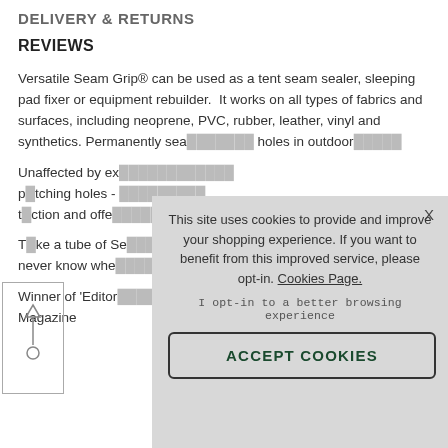DELIVERY & RETURNS
REVIEWS
Versatile Seam Grip® can be used as a tent seam sealer, sleeping pad fixer or equipment rebuilder.  It works on all types of fabrics and surfaces, including neoprene, PVC, rubber, leather, vinyl and synthetics. Permanently sea... holes in outdoor
Unaffected by ex... patching holes - traction and offe
Take a tube of Se... never know whe
Winner of 'Editor... Magazine
[Figure (infographic): Cookie consent overlay with text: 'This site uses cookies to provide and improve your shopping experience. If you want to benefit from this improved service, please opt-in. Cookies Page.' and opt-in link and ACCEPT COOKIES button]